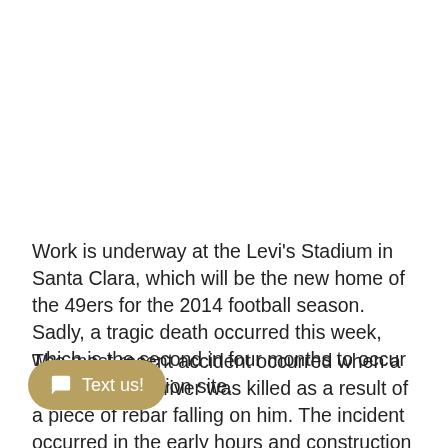Work is underway at the Levi's Stadium in Santa Clara, which will be the new home of the 49ers for the 2014 football season. Sadly, a tragic death occurred this week, which is the second in four months to occur at the construction site.
The most recent accident occurred when a delivery truck driver was killed as a result of a piece of rebar falling on him. The incident occurred in the early hours and construction was shut down for the rest of the day as Cal-OSHA and the Santa Clara Police and Fire Departments were investigating.